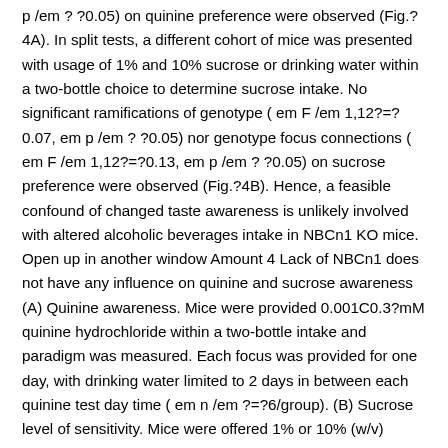p /em ? ?0.05) on quinine preference were observed (Fig.?4A). In split tests, a different cohort of mice was presented with usage of 1% and 10% sucrose or drinking water within a two-bottle choice to determine sucrose intake. No significant ramifications of genotype ( em F /em 1,12?=?0.07, em p /em ? ?0.05) nor genotype focus connections ( em F /em 1,12?=?0.13, em p /em ? ?0.05) on sucrose preference were observed (Fig.?4B). Hence, a feasible confound of changed taste awareness is unlikely involved with altered alcoholic beverages intake in NBCn1 KO mice. Open up in another window Amount 4 Lack of NBCn1 does not have any influence on quinine and sucrose awareness (A) Quinine awareness. Mice were provided 0.001C0.3?mM quinine hydrochloride within a two-bottle intake and paradigm was measured. Each focus was provided for one day, with drinking water limited to 2 days in between each quinine test day time ( em n /em ?=?6/group). (B) Sucrose level of sensitivity. Mice were offered 1% or 10% (w/v) sucrose and water for 2 days inside a two-bottle paradigm and intake was measured ( em n /em ?=?